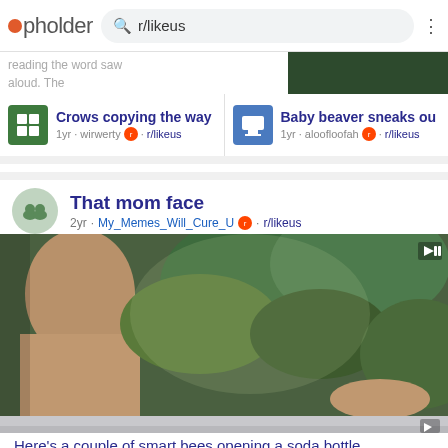pholder — r/likeus
Crows copying the way · 1yr · wirwerty · r/likeus
Baby beaver sneaks ou · 1yr · aloofloofah · r/likeus
That mom face
2yr · My_Memes_Will_Cure_U · r/likeus
[Figure (photo): Blurry outdoor photo showing a person's side profile on the left and green leafy branches/foliage on the right]
[Figure (photo): Partially visible second post image, appears to be a grey/muted outdoor scene]
Here's a couple of smart bees opening a soda bottle